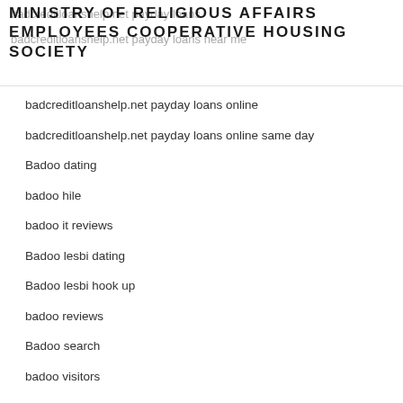MINISTRY OF RELIGIOUS AFFAIRS EMPLOYEES COOPERATIVE HOUSING SOCIETY
badcreditloanshelp.net payday loans online
badcreditloanshelp.net payday loans online same day
Badoo dating
badoo hile
badoo it reviews
Badoo lesbi dating
Badoo lesbi hook up
badoo reviews
Badoo search
badoo visitors